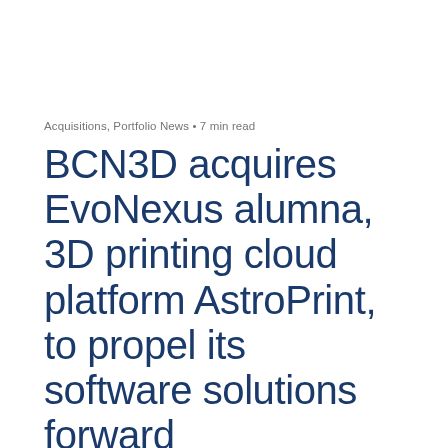Acquisitions, Portfolio News • 7 min read
BCN3D acquires EvoNexus alumna, 3D printing cloud platform AstroPrint, to propel its software solutions forward
September 7, 2021